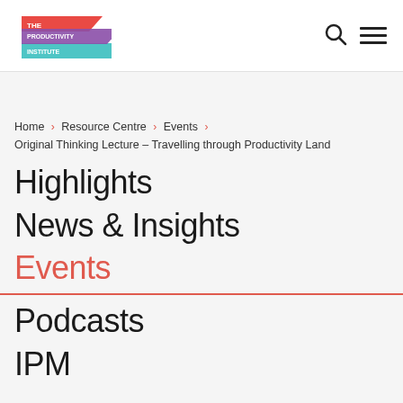[Figure (logo): The Productivity Institute logo with coloured arrow/ribbon shapes in red, purple, and teal]
Home > Resource Centre > Events > Original Thinking Lecture – Travelling through Productivity Land
Highlights
News & Insights
Events
Podcasts
IPM